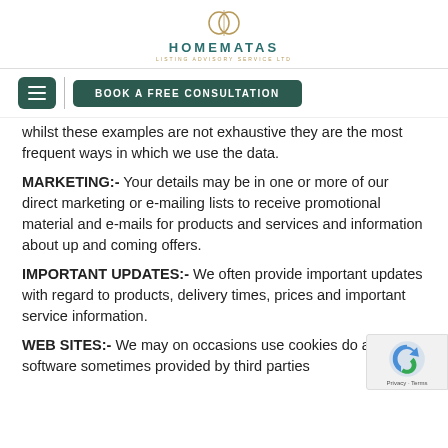HOMEMATAS
whilst these examples are not exhaustive they are the most frequent ways in which we use the data.
MARKETING:- Your details may be in one or more of our direct marketing or e-mailing lists to receive promotional material and e-mails for products and services and information about up and coming offers.
IMPORTANT UPDATES:- We often provide important updates with regard to products, delivery times, prices and important service information.
WEB SITES:- We may on occasions use cookies do analytical software sometimes provided by third parties